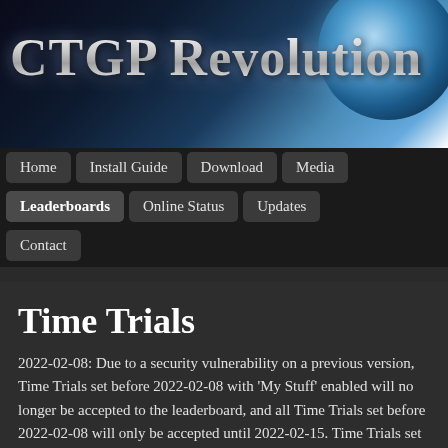[Figure (illustration): CTGP Revolution website header banner with dark space/planet background and silver metallic logo text reading 'CTGP Revolution']
Home | Install Guide | Download | Media
Leaderboards | Online Status | Updates
Contact
Time Trials
2022-02-08: Due to a security vulnerability on a previous version, Time Trials set before 2022-02-08 with 'My Stuff' enabled will no longer be accepted to the leaderboard, and all Time Trials set before 2022-02-08 will only be accepted until 2022-02-15. Time Trials set on the newest version of CTGP will always be accepted. Apologies for the